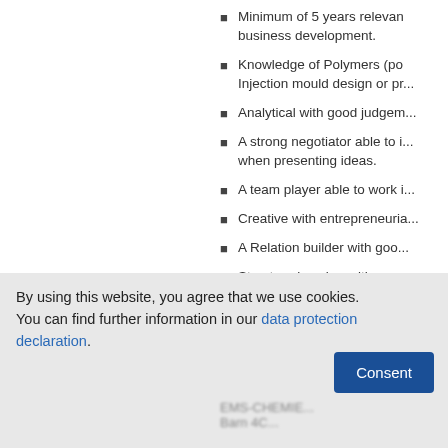Minimum of 5 years relevant experience in business development.
Knowledge of Polymers (po... Injection mould design or pr...
Analytical with good judgem...
A strong negotiator able to i... when presenting ideas.
A team player able to work i...
Creative with entrepreneuria...
A Relation builder with goo...
Structured worker with good ability.
Please send you CV together with...
to richard.peters@uk.emsgrou...
By using this website, you agree that we use cookies. You can find further information in our data protection declaration.
EMS-CHEMIE... Barn 4C...